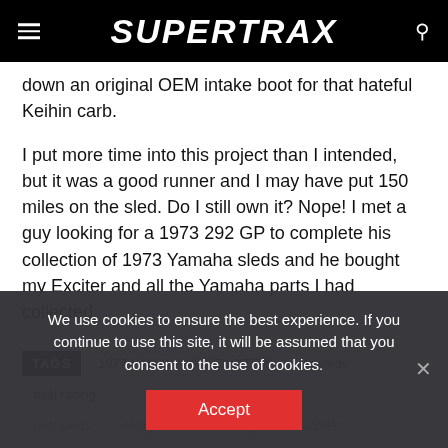SUPERTRAX
down an original OEM intake boot for that hateful Keihin carb.
I put more time into this project than I intended, but it was a good runner and I may have put 150 miles on the sled. Do I still own it? Nope! I met a guy looking for a 1973 292 GP to complete his collection of 1973 Yamaha sleds and he bought my Exciter and all the Yamaha parts I had collected.
TAGS: 1977 YAMAHA 440 EXCITER | old sleds | oval racing
oval sleds | vintage sleds | vintage snowmobiles
We use cookies to ensure the best experience. If you continue to use this site, it will be assumed that you consent to the use of cookies.